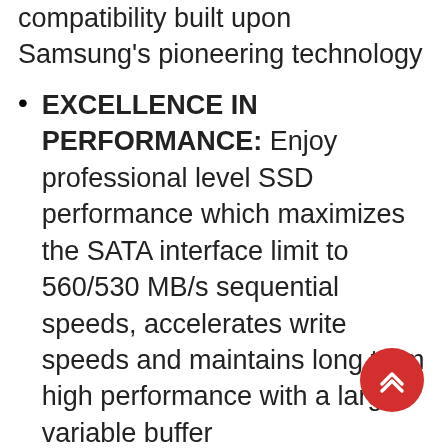compatibility built upon Samsung's pioneering technology
EXCELLENCE IN PERFORMANCE: Enjoy professional level SSD performance which maximizes the SATA interface limit to 560/530 MB/s sequential speeds, accelerates write speeds and maintains long term high performance with a larger variable buffer
INDUSTRY-DEFINING RELIABILITY: From everyday computing to 8K video processing, you can multi-task efficiently with up to 600 TBW, low lag with the 6th generation VNAND, and powerful MKX controller
MORE COMPATIBLE THAN EVER: 870 EVO has been compatibility tested for major systems and applications, including chipsets,